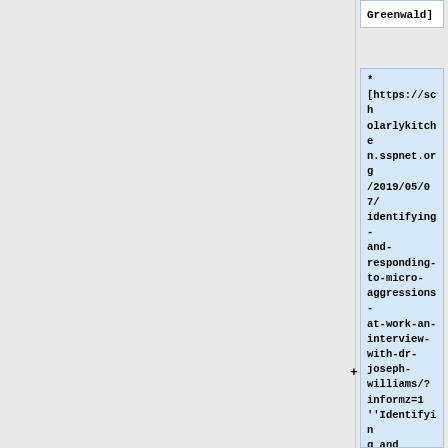Greenwald]
* [https://scholarlykitchen.sspnet.org/2019/05/07/identifying-and-responding-to-micro-aggressions-at-work-an-interview-with-dr-joseph-williams/?informz=1 ''Identifying and responding to